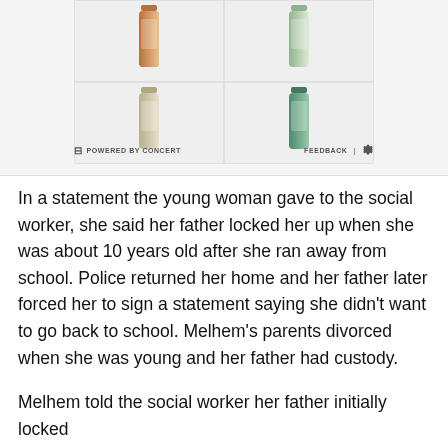[Figure (other): Advertisement grid showing four skincare product tubes (cream/lotion tubes with decorative labels) arranged in a 2x2 grid on a light grey background, with a 'POWERED BY CONCERT' label and FEEDBACK / settings gear icon bar at the bottom.]
In a statement the young woman gave to the social worker, she said her father locked her up when she was about 10 years old after she ran away from school. Police returned her home and her father later forced her to sign a statement saying she didn't want to go back to school. Melhem's parents divorced when she was young and her father had custody.
Melhem told the social worker her father initially locked